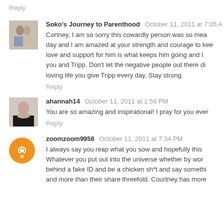Reply
Soko's Journey to Parenthood  October 11, 2011 at 7:05 A
Cortney, I am so sorry this cowardly person was so mea... day and I am amazed at your strength and courage to kee... love and support for him is what keeps him going and ... you and Tripp. Don't let the negative people out there di... loving life you give Tripp every day. Stay strong.
Reply
ahannah14  October 11, 2011 at 1:59 PM
You are so amazing and inspirational! I pray for you ever...
Reply
zoomzoom9958  October 11, 2011 at 7:34 PM
I always say you reap what you sow and hopefully this... Whatever you put out into the universe whether by wor... behind a fake ID and be a chicken sh*t and say somethi... and more than their share threefold. Courtney has more...